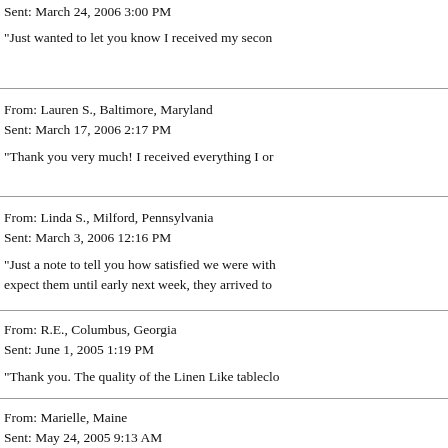Sent: March 24, 2006 3:00 PM
"Just wanted to let you know I received my secon
From: Lauren S., Baltimore, Maryland
Sent: March 17, 2006 2:17 PM
"Thank you very much! I received everything I or
From: Linda S., Milford, Pennsylvania
Sent: March 3, 2006 12:16 PM
"Just a note to tell you how satisfied we were with... expect them until early next week, they arrived to
From: R.E., Columbus, Georgia
Sent: June 1, 2005 1:19 PM
"Thank you. The quality of the Linen Like tableclo
From: Marielle, Maine
Sent: May 24, 2005 9:13 AM
"Thanks so much. We had not done business with